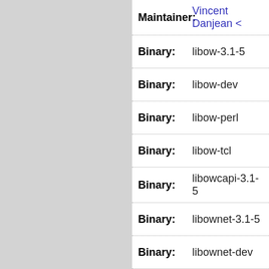| Field | Value |
| --- | --- |
| Maintainer: | Vincent Danjean < |
| Binary: | libow-3.1-5 |
| Binary: | libow-dev |
| Binary: | libow-perl |
| Binary: | libow-tcl |
| Binary: | libowcapi-3.1-5 |
| Binary: | libownet-3.1-5 |
| Binary: | libownet-dev |
| Binary: | libownet-perl:all |
| Binary: | libownet-php:all |
| Binary: | ow-shell |